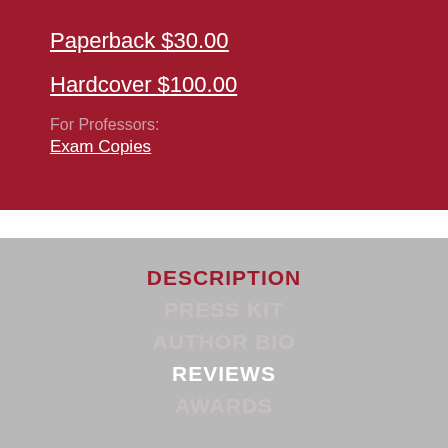Paperback $30.00
Hardcover $100.00
For Professors:
Exam Copies
DESCRIPTION
PRESS KIT
AUTHOR BIO
REVIEWS
AWARDS